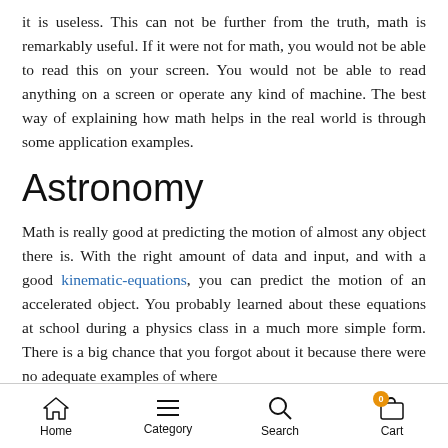it is useless. This can not be further from the truth, math is remarkably useful. If it were not for math, you would not be able to read this on your screen. You would not be able to read anything on a screen or operate any kind of machine. The best way of explaining how math helps in the real world is through some application examples.
Astronomy
Math is really good at predicting the motion of almost any object there is. With the right amount of data and input, and with a good kinematic-equations, you can predict the motion of an accelerated object. You probably learned about these equations at school during a physics class in a much more simple form. There is a big chance that you forgot about it because there were no adequate examples of where
Home  Category  Search  Cart